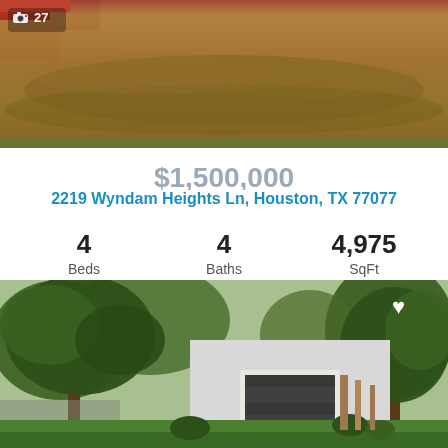[Figure (photo): Aerial or elevated view of a dirt/soil lot, reddish-brown earth visible at top corners]
📷 27
$1,500,000
2219 Wyndam Heights Ln, Houston, TX 77077
4 Beds  4 Baths  4,975 SqFt
Listing Provided By Diane Kingshill 832-899-4788 with Compass RE Texas
[Figure (logo): HAR.COM logo — dark blue square with gold crescent, white text HAR / COM]
[Figure (photo): Front exterior of a modern white house with dark garage door, surrounded by large oak trees and green lawn]